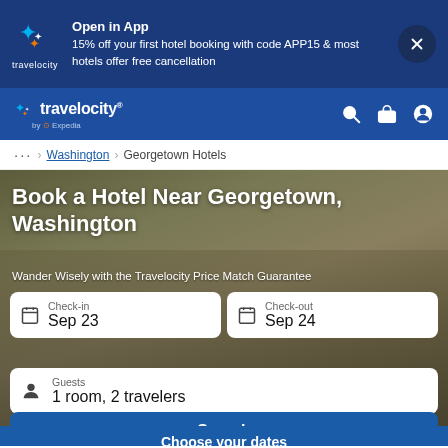[Figure (screenshot): Travelocity app promotional banner with logo, open in app message, and close button]
[Figure (logo): Travelocity navigation bar with logo, search, trips, and account icons]
... > Washington > Georgetown Hotels
Book a Hotel Near Georgetown, Washington
Wander Wisely with the Travelocity Price Match Guarantee
Check-in
Sep 23
Check-out
Sep 24
Guests
1 room, 2 travelers
Search
Choose your dates